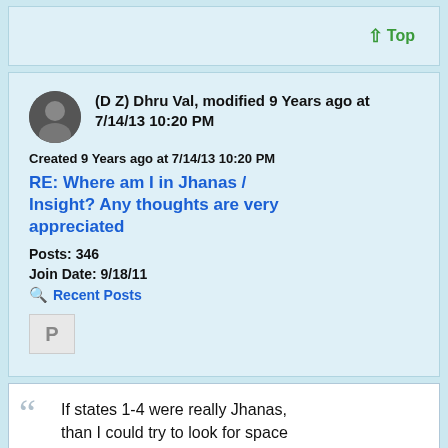Top
(D Z) Dhru Val, modified 9 Years ago at 7/14/13 10:20 PM
Created 9 Years ago at 7/14/13 10:20 PM
RE: Where am I in Jhanas / Insight? Any thoughts are very appreciated
Posts: 346
Join Date: 9/18/11
Recent Posts
If states 1-4 were really Jhanas, than I could try to look for space while in 4 that later...